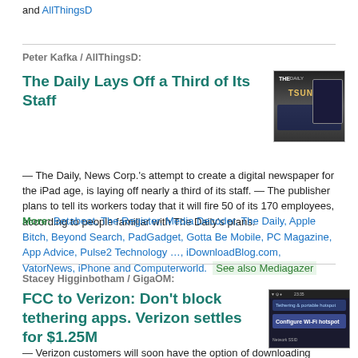and AllThingsD
Peter Kafka / AllThingsD:
The Daily Lays Off a Third of Its Staff
[Figure (photo): Tablet devices showing The Daily app with TSUNAMI headline]
— The Daily, News Corp.'s attempt to create a digital newspaper for the iPad age, is laying off nearly a third of its staff. — The publisher plans to tell its workers today that it will fire 50 of its 170 employees, according to people familiar with The Daily's plans.
More: Betabeat, The Register, Media Decoder, The Daily, Apple Bitch, Beyond Search, PadGadget, Gotta Be Mobile, PC Magazine, App Advice, Pulse2 Technology …, iDownloadBlog.com, VatorNews, iPhone and Computerworld. See also Mediagazer
Stacey Higginbotham / GigaOM:
FCC to Verizon: Don't block tethering apps. Verizon settles for $1.25M
[Figure (screenshot): Android phone screen showing tethering and portable hotspot settings with Configure Wi-Fi hotspot option]
— Verizon customers will soon have the option of downloading Android apps that let them turn their phone into a mobile